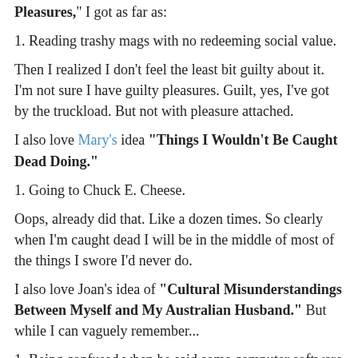Pleasures," I got as far as:
1. Reading trashy mags with no redeeming social value.
Then I realized I don't feel the least bit guilty about it. I'm not sure I have guilty pleasures. Guilt, yes, I've got by the truckload. But not with pleasure attached.
I also love Mary's idea "Things I Wouldn't Be Caught Dead Doing."
1. Going to Chuck E. Cheese.
Oops, already did that. Like a dozen times. So clearly when I'm caught dead I will be in the middle of most of the things I swore I'd never do.
I also love Joan's idea of "Cultural Misunderstandings Between Myself and My Australian Husband." But while I can vaguely remember...
1. Being confused when he said some computer software